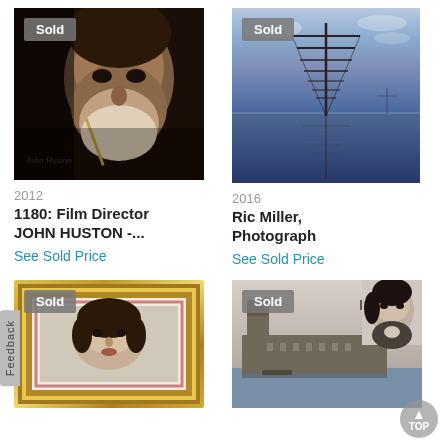[Figure (photo): Black and white photograph of film director John Huston, elderly bearded man, with 'Sold' badge]
2012
1180: Film Director JOHN HUSTON -...
See Sold Price
[Figure (photo): Color photograph of a tall ship mast reflected in calm blue water at dusk/dawn, with 'Sold' badge]
2016
Ric Miller, Photograph
See Sold Price
[Figure (photo): Framed portrait photograph of a woman in a gold frame with pink inner border, with 'Sold' badge]
[Figure (photo): Black and white photograph of London Parliament building with a woman's portrait inset, with 'Sold' badge]